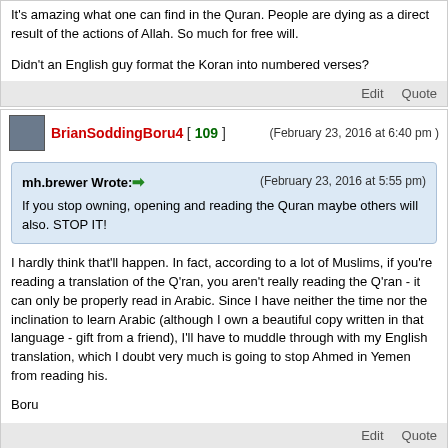It's amazing what one can find in the Quran. People are dying as a direct result of the actions of Allah. So much for free will.
Didn't an English guy format the Koran into numbered verses?
Edit   Quote
BrianSoddingBoru4 [ 109 ] (February 23, 2016 at 6:40 pm)
mh.brewer Wrote: (February 23, 2016 at 5:55 pm) If you stop owning, opening and reading the Quran maybe others will also. STOP IT!
I hardly think that'll happen. In fact, according to a lot of Muslims, if you're reading a translation of the Q'ran, you aren't really reading the Q'ran - it can only be properly read in Arabic. Since I have neither the time nor the inclination to learn Arabic (although I own a beautiful copy written in that language - gift from a friend), I'll have to muddle through with my English translation, which I doubt very much is going to stop Ahmed in Yemen from reading his.

Boru
Edit   Quote
brewer [ 90 ] (February 23, 2016 at 6:50 pm)